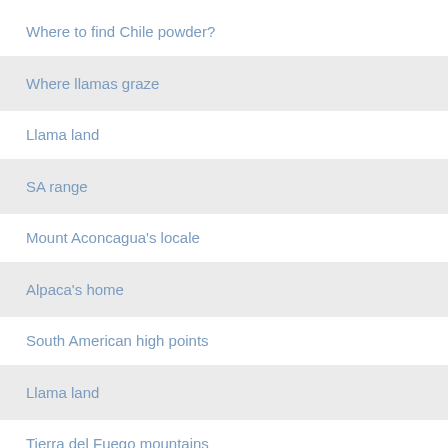Where to find Chile powder?
Where llamas graze
Llama land
SA range
Mount Aconcagua's locale
Alpaca's home
South American high points
Llama land
Tierra del Fuego mountains
Alpaca's milieu